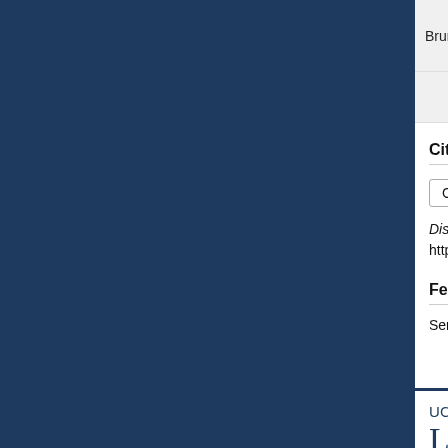| Brunswick | LAE430 | 10-in. |  |
| --- | --- | --- | --- |
| Brunswick | LAE430 | 10-in. | 2 |
Citation
Chicago Style ▾
Discography of American Historical Recordings, s.v. https://adp.library.ucsb.edu/index.php/date/browse
Feedback
Send the Editors a message about this record.
View Discography Status
UC SANTA BARBARA Library © 2008-2022 Regents of the University of California, All Rights Reserved. Home | Contact Us | Terms of Use | Accessibility